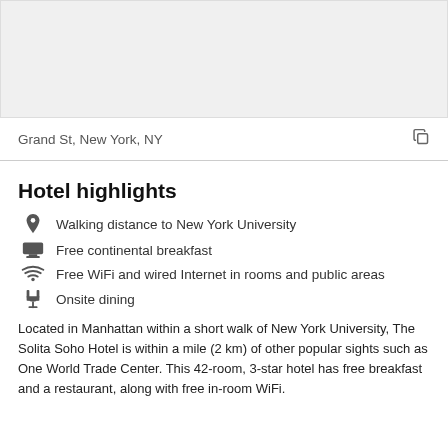[Figure (photo): Hotel or map image placeholder, light gray background]
Grand St, New York, NY
Hotel highlights
Walking distance to New York University
Free continental breakfast
Free WiFi and wired Internet in rooms and public areas
Onsite dining
Located in Manhattan within a short walk of New York University, The Solita Soho Hotel is within a mile (2 km) of other popular sights such as One World Trade Center. This 42-room, 3-star hotel has free breakfast and a restaurant, along with free in-room WiFi.